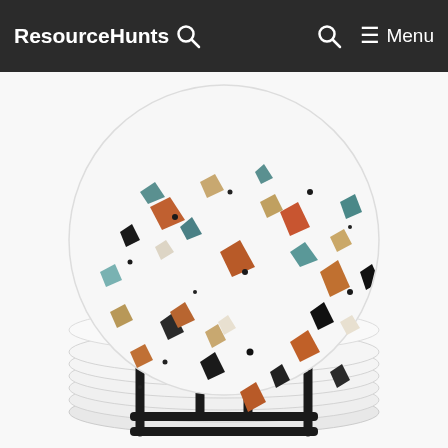ResourceHunts  🔍  🔍  ☰ Menu
[Figure (photo): Terrazzo stone coasters with colorful marble chip pattern (teal, rust, black, beige, brown chips on white background) stacked in a black metal wire holder stand. One large coaster is displayed upright behind the stack. Product photo on white background.]